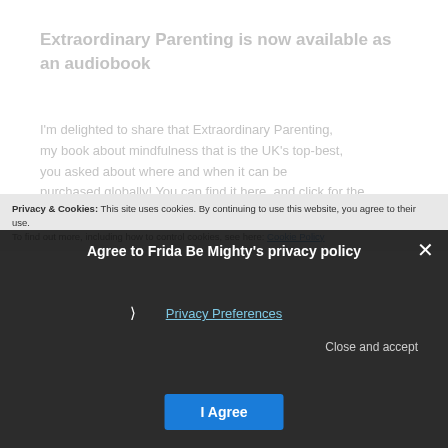Extraordinary Parenting is now available as an audiobook
I'm delighted to share that Extraordinary Parenting, my book about mindfulness that is the UK's top-best, you asked about where and when it can be purchased globally! You can find it here, and click for the audiobook and if you want to purchase a Masterclass on an iPhone you can too a
Privacy & Cookies: This site uses cookies. By continuing to use this website, you agree to their use. To find out more, including how to control cookies, see here: Cookie Policy
Agree to Frida Be Mighty's privacy policy
❯ Privacy Preferences
Close and accept
I Agree